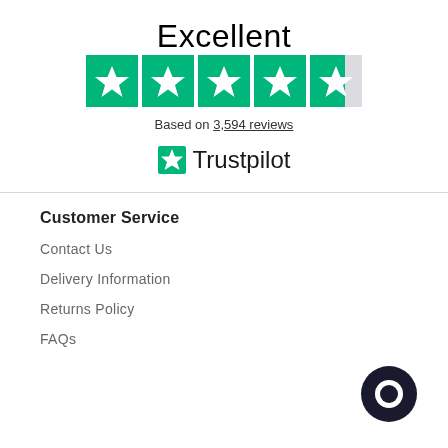Excellent
[Figure (infographic): Trustpilot rating: 4.5 out of 5 stars (5 green star boxes, last one half filled), with Trustpilot logo]
Based on 3,594 reviews
Customer Service
Contact Us
Delivery Information
Returns Policy
FAQs
[Figure (illustration): Dark chat bubble icon in bottom right corner]